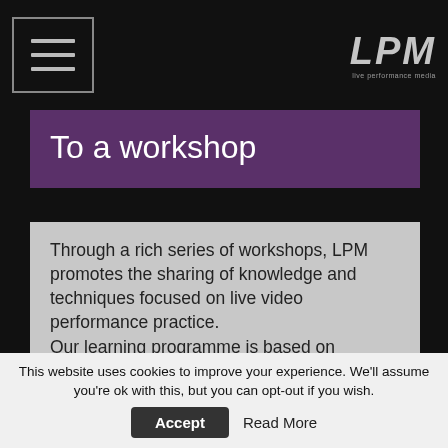LPM — Navigation header with hamburger menu and LPM logo
To a workshop
Through a rich series of workshops, LPM promotes the sharing of knowledge and techniques focused on live video performance practice. Our learning programme is based on theoretical and practical modules, that have been chosen according to our interest in the most innovative and interesting live video technologies. Besides the investigation of theories and languages related to this practice (such as content production and real time video processing) the workshops are
This website uses cookies to improve your experience. We'll assume you're ok with this, but you can opt-out if you wish. Accept Read More